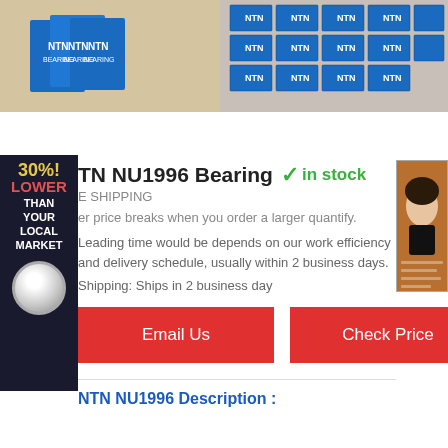[Figure (photo): Two NTN bearing product boxes displayed side by side on a wooden surface (left image), and stacked NTN bearing boxes arranged in rows (right image).]
[Figure (infographic): Dark sidebar banner reading '30% LOWER THAN YOUR LOCAL MARKET' with a bearing image at bottom.]
[Figure (photo): Right side advertisement showing a woman's face on a brown background.]
TN NU1996 Bearing
in stock
E SHIPPING
er price breaks when you order a larger quantify.
Leading time would be depends on our work efficiency and delivery schedule, usually within 2 business days.
Shipping: Ships in 2 business day
Email Us
Check Price
NTN NU1996 Description :